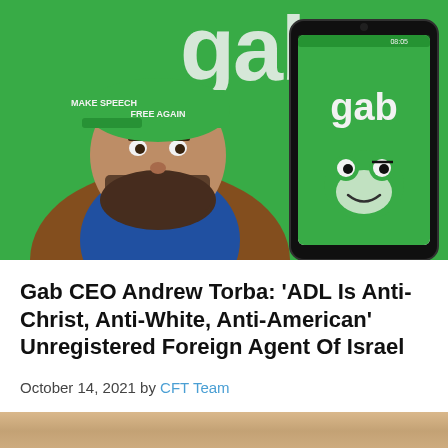[Figure (photo): Photo of a bearded man wearing a green 'Make Speech Free Again' cap, standing in front of a green Gab banner, next to a smartphone displaying the Gab app with a frog mascot logo.]
Gab CEO Andrew Torba: 'ADL Is Anti-Christ, Anti-White, Anti-American' Unregistered Foreign Agent Of Israel
October 14, 2021 by CFT Team